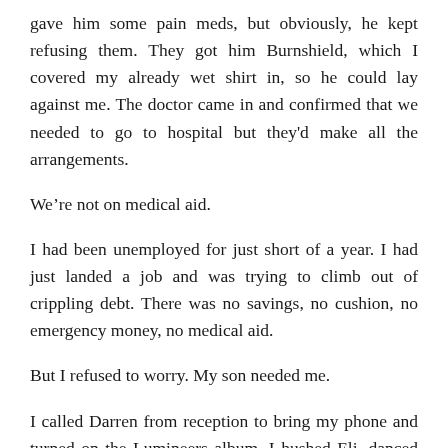gave him some pain meds, but obviously, he kept refusing them. They got him Burnshield, which I covered my already wet shirt in, so he could lay against me. The doctor came in and confirmed that we needed to go to hospital but they'd make all the arrangements.
We're not on medical aid.
I had been unemployed for just short of a year. I had just landed a job and was trying to climb out of crippling debt. There was no savings, no cushion, no emergency money, no medical aid.
But I refused to worry. My son needed me.
I called Darren from reception to bring my phone and turned on the Lumineers album. I hushed Eli, danced with him and eventually… the crying stopped. I turned off the light, and swayed in the dark. I still didn't have it in me to cry, to freak out, to vomit from the worry. I just swayed to